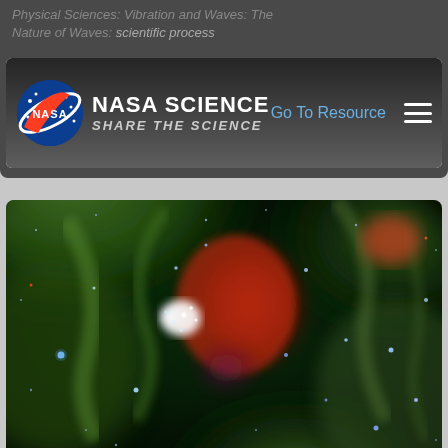Physical Sciences: Vibration and Waves: The Nature of Waves: scientific process
[Figure (logo): NASA Science - Share the Science logo with NASA meatball logo, site title, and navigation including Go To Resource link and hamburger menu]
[Figure (photo): Space nebula photograph showing a colorful region of space with green nebula gas clouds, a bright red/orange central region, white star-forming area, and numerous blue stars scattered throughout against a dark background. Appears to be a Hubble Space Telescope image.]